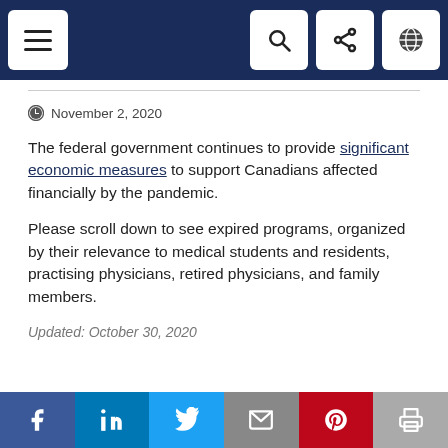Navigation bar with menu, search, share, and language icons
November 2, 2020
The federal government continues to provide significant economic measures to support Canadians affected financially by the pandemic.
Please scroll down to see expired programs, organized by their relevance to medical students and residents, practising physicians, retired physicians, and family members.
Updated: October 30, 2020
Social share buttons: Facebook, LinkedIn, Twitter, Email, Pinterest, Print